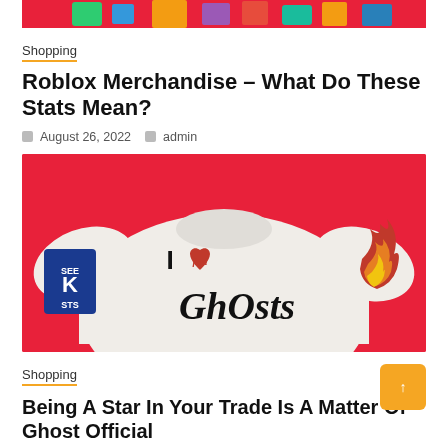[Figure (photo): Top portion of a Roblox merchandise image, partially cropped, showing colorful items on a red background]
Shopping
Roblox Merchandise – What Do These Stats Mean?
August 26, 2022   admin
[Figure (photo): A white sweatshirt with 'I feel Ghosts' text and a red heart graphic, on a red background, with flame design on one sleeve and K logo patch on the other]
Shopping
Being A Star In Your Trade Is A Matter Of Ghost Official